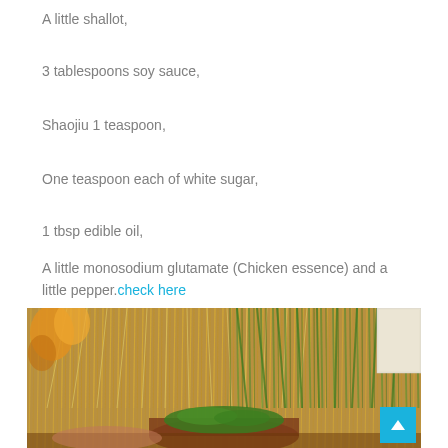A little shallot,
3 tablespoons soy sauce,
Shaojiu 1 teaspoon,
One teaspoon each of white sugar,
1 tbsp edible oil,
A little monosodium glutamate (Chicken essence) and a little pepper.check here
[Figure (photo): Food ingredients photo showing wheat/grain stalks, green onions, tofu block, chopped herbs in a wooden bowl, on a wooden surface]